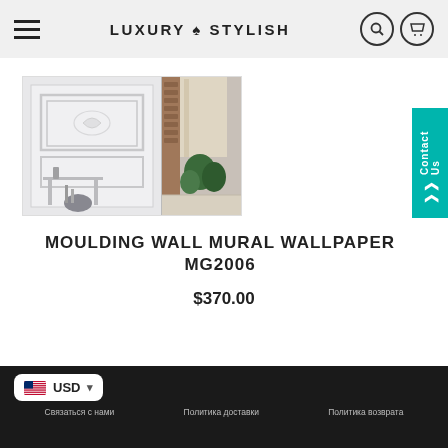LUXURY ♠ STYLISH
[Figure (screenshot): Product listing screenshot showing a moulding wall mural wallpaper product with two room interior photos, product title, and price]
MOULDING WALL MURAL WALLPAPER MG2006
$370.00
USD  Связаться с нами  Политика доставки  Политика возврата